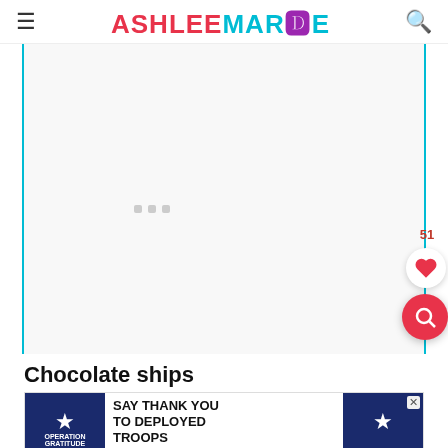ASHLEE MARIE
[Figure (photo): Large white placeholder image area with cyan/teal vertical border lines on left and right sides, and three small gray loading dots in the center.]
51
[Figure (illustration): White circle with red heart icon (like/favorite button)]
[Figure (illustration): Red circle with white search magnifying glass icon]
Chocolate ships
[Figure (screenshot): Advertisement banner: Operation Gratitude - SAY THANK YOU TO DEPLOYED TROOPS, with patriotic imagery including stars and a cartoon owl.]